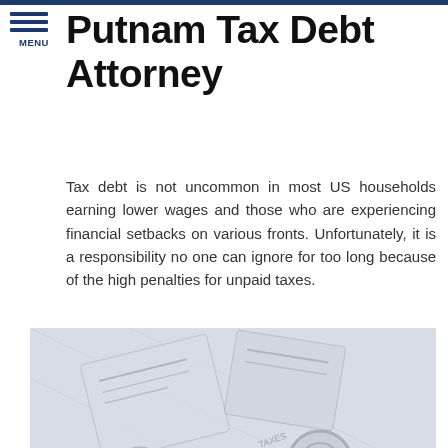Putnam Tax Debt Attorney
Tax debt is not uncommon in most US households earning lower wages and those who are experiencing financial setbacks on various fronts. Unfortunately, it is a responsibility no one can ignore for too long because of the high penalties for unpaid taxes.
[Figure (photo): Photo of tax-related documents, handcuffs or lock, suggesting tax debt consequences]